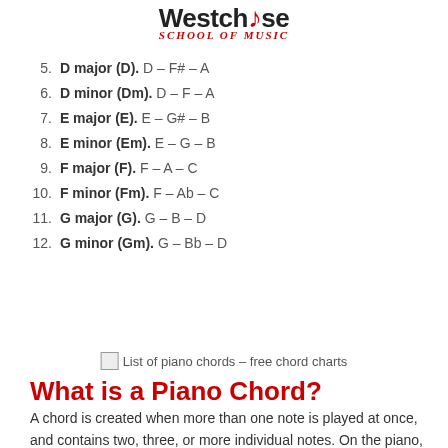Westchose School of Music
5. D major (D). D – F# – A
6. D minor (Dm). D – F – A
7. E major (E). E – G# – B
8. E minor (Em). E – G – B
9. F major (F). F – A – C
10. F minor (Fm). F – Ab – C
11. G major (G). G – B – D
12. G minor (Gm). G – Bb – D
List of piano chords – free chord charts
What is a Piano Chord?
A chord is created when more than one note is played at once, and contains two, three, or more individual notes. On the piano, this means you push down more than one key at the same time.